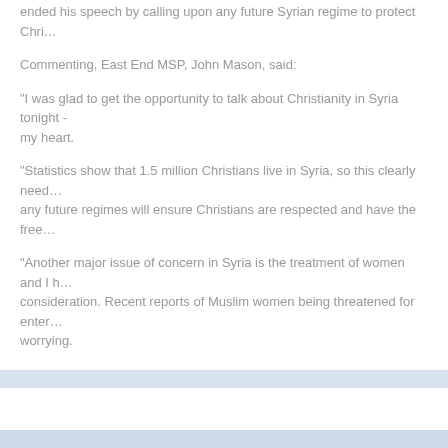ended his speech by calling upon any future Syrian regime to protect Chri...
Commenting, East End MSP, John Mason, said:
“I was glad to get the opportunity to talk about Christianity in Syria tonight - my heart.
“Statistics show that 1.5 million Christians live in Syria, so this clearly need... any future regimes will ensure Christians are respected and have the free...
“Another major issue of concern in Syria is the treatment of women and I h... consideration. Recent reports of Muslim women being threatened for enter... worrying.
“Syria stands on the brink of history – the next few steps are vital and I hop... rights of Christians will be respected”.
[Figure (other): Share button with broken image icon and Share text link]